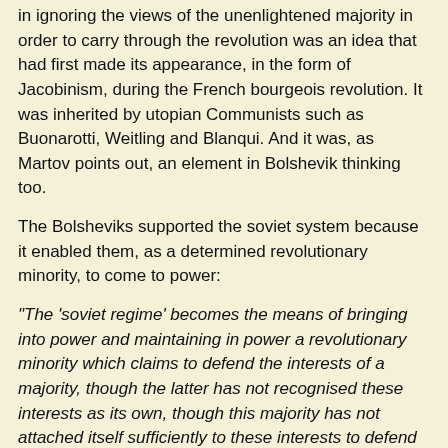in ignoring the views of the unenlightened majority in order to carry through the revolution was an idea that had first made its appearance, in the form of Jacobinism, during the French bourgeois revolution. It was inherited by utopian Communists such as Buonarotti, Weitling and Blanqui. And it was, as Martov points out, an element in Bolshevik thinking too.
The Bolsheviks supported the soviet system because it enabled them, as a determined revolutionary minority, to come to power:
"The 'soviet regime' becomes the means of bringing into power and maintaining in power a revolutionary minority which claims to defend the interests of a majority, though the latter has not recognised these interests as its own, though this majority has not attached itself sufficiently to these interests to defend them with all its energy and determination." (p. 19).
This, Martov goes on, applied equally to the partisans of the soviet idea (workers' councils) outside of Russia. They too